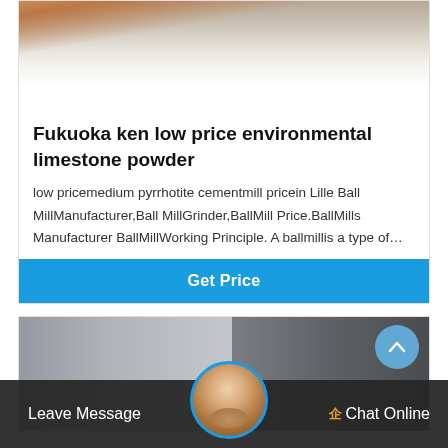[Figure (photo): Top portion of a product card showing a white powder/limestone surface with an orange-brown element in the upper right corner]
Fukuoka ken low price environmental limestone powder
low pricemedium pyrrhotite cementmill pricein Lille Ball MillManufacturer,Ball MillGrinder,BallMill Price.BallMills Manufacturer BallMillWorking Principle. A ballmillis a type of…
Get Price
[Figure (photo): Bottom card showing industrial building exterior with corrugated metal walls and a sign, partially visible]
Leave Message
Chat Online